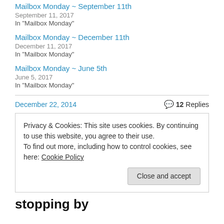Mailbox Monday ~ September 11th
September 11, 2017
In "Mailbox Monday"
Mailbox Monday ~ December 11th
December 11, 2017
In "Mailbox Monday"
Mailbox Monday ~ June 5th
June 5, 2017
In "Mailbox Monday"
December 22, 2014
12 Replies
Privacy & Cookies: This site uses cookies. By continuing to use this website, you agree to their use.
To find out more, including how to control cookies, see here: Cookie Policy
stopping by